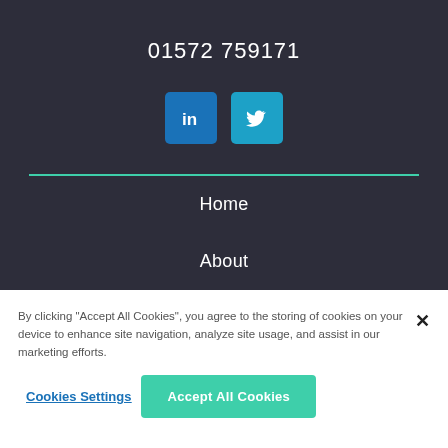01572 759171
[Figure (illustration): LinkedIn and Twitter social media icons. LinkedIn icon is a blue rounded square with 'in' text. Twitter icon is a cyan rounded square with bird logo.]
Home
About
By clicking "Accept All Cookies", you agree to the storing of cookies on your device to enhance site navigation, analyze site usage, and assist in our marketing efforts.
Cookies Settings
Accept All Cookies